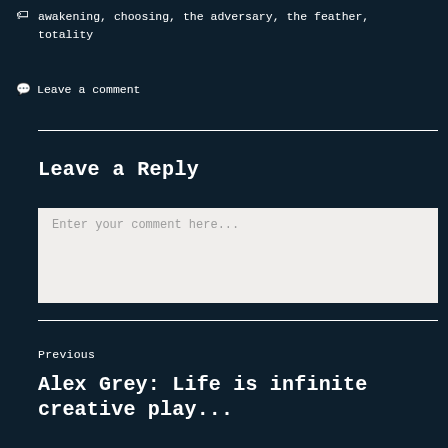awakening, choosing, the adversary, the feather, totality
Leave a comment
Leave a Reply
Enter your comment here...
Previous
Alex Grey: Life is infinite creative play...